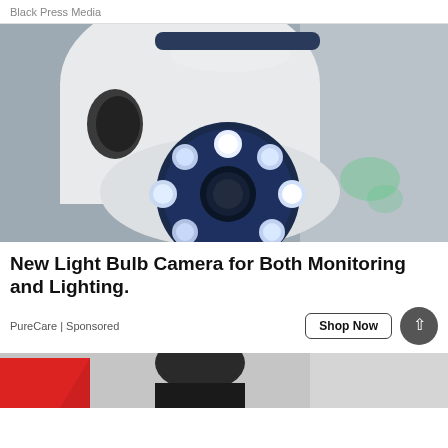Black Press Media
[Figure (photo): Close-up photo of a white light bulb security camera with blue LED ring illuminated, mounted on a wall]
New Light Bulb Camera for Both Monitoring and Lighting.
PureCare | Sponsored
[Figure (photo): Partial photo at bottom of page showing a person, cropped]